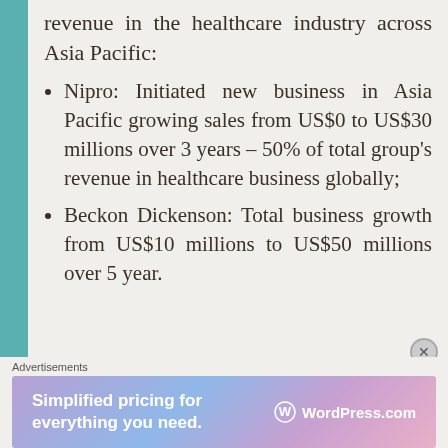revenue in the healthcare industry across Asia Pacific:
Nipro: Initiated new business in Asia Pacific growing sales from US$0 to US$30 millions over 3 years – 50% of total group's revenue in healthcare business globally;
Beckon Dickenson: Total business growth from US$10 millions to US$50 millions over 5 year.
Advertisements
[Figure (other): WordPress.com advertisement banner: 'Simplified pricing for everything you need.' with WordPress.com logo on gradient purple-blue background]